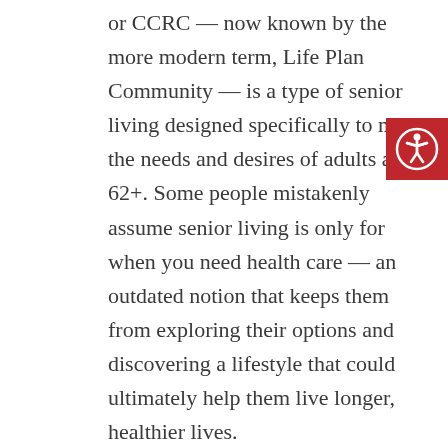or CCRC — now known by the more modern term, Life Plan Community — is a type of senior living designed specifically to meet the needs and desires of adults age 62+. Some people mistakenly assume senior living is only for when you need health care — an outdated notion that keeps them from exploring their options and discovering a lifestyle that could ultimately help them live longer, healthier lives.

The truth is, the best time to move to a Life Plan Community or CCRC is when you're young and healthy enough to enjoy
[Figure (illustration): Accessibility icon button — red square with white person-in-circle accessibility symbol (wheelchair/person with outstretched arms icon)]